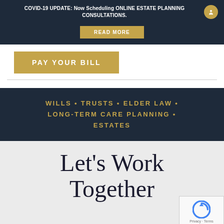COVID-19 UPDATE: Now Scheduling ONLINE ESTATE PLANNING CONSULTATIONS.
READ MORE
PAY YOUR BILL
WILLS • TRUSTS • ELDER LAW • LONG-TERM CARE PLANNING • ESTATES
Let's Work Together